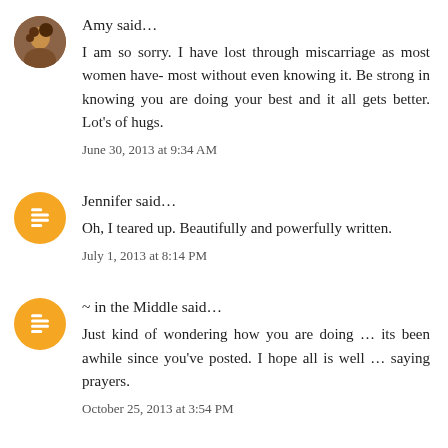Amy said...
I am so sorry. I have lost through miscarriage as most women have- most without even knowing it. Be strong in knowing you are doing your best and it all gets better. Lot's of hugs.
June 30, 2013 at 9:34 AM
Jennifer said...
Oh, I teared up. Beautifully and powerfully written.
July 1, 2013 at 8:14 PM
~ in the Middle said...
Just kind of wondering how you are doing ... its been awhile since you've posted. I hope all is well ... saying prayers.
October 25, 2013 at 3:54 PM